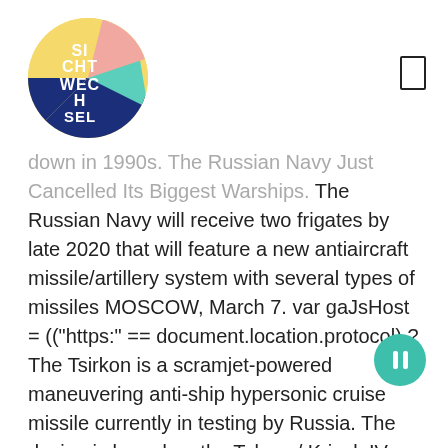[Figure (logo): Sichtwechsel podcast/media logo — circular design with pastel sections (yellow, pink, teal, navy) and white text reading 'SI CHT WECH SEL']
down in 1990s. The Russian Navy Just Cancelled Its Biggest Warships. The Russian Navy will receive two frigates by late 2020 that will feature a new antiaircraft missile/artillery system with several types of missiles MOSCOW, March 7. var gaJsHost = (("https:" == document.location.protocol) ? The Tsirkon is a scramjet-powered maneuvering anti-ship hypersonic cruise missile currently in testing by Russia. The design is based on the Talwar / Krivak IV Class frigate developed by Russia for India and incorporates stealth technology. As Yaroslav Mudry was still in completion, in 2006, the next generation stealthy Frigates of the Russian Navy. Admiral